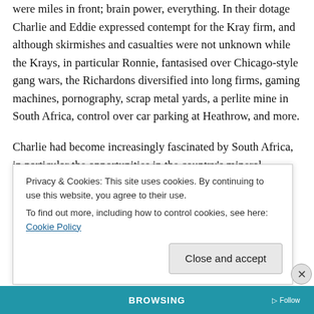were miles in front; brain power, everything. In their dotage Charlie and Eddie expressed contempt for the Kray firm, and although skirmishes and casualties were not unknown while the Krays, in particular Ronnie, fantasised over Chicago-style gang wars, the Richardons diversified into long firms, gaming machines, pornography, scrap metal yards, a perlite mine in South Africa, control over car parking at Heathrow, and more.
Charlie had become increasingly fascinated by South Africa, in particular the opportunities in the country's mineral industry. He became embroiled with the South
Privacy & Cookies: This site uses cookies. By continuing to use this website, you agree to their use.
To find out more, including how to control cookies, see here: Cookie Policy
Close and accept